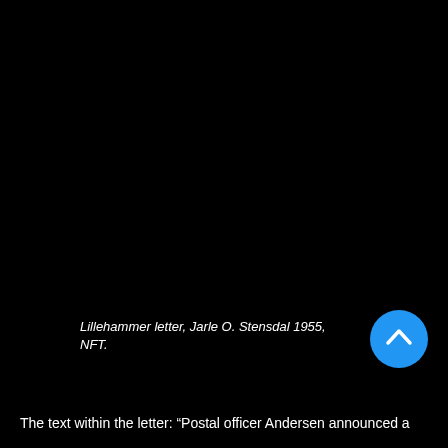[Figure (photo): Large black area occupying the majority of the page, representing a dark/black image or photograph.]
Lillehammer letter, Jarle O. Stensdal 1955, NFT.
The text within the letter: “Postal officer Andersen announced a